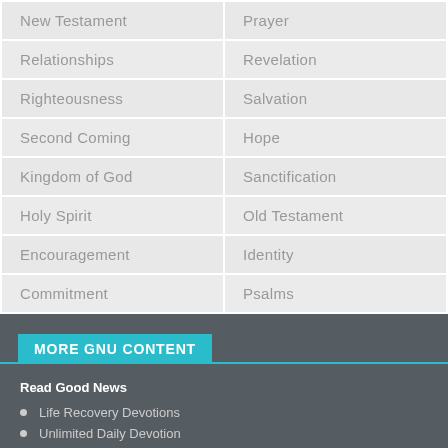| New Testament | Prayer |
| Relationships | Revelation |
| Righteousness | Salvation |
| Second Coming | Hope |
| Kingdom of God | Sanctification |
| Holy Spirit | Old Testament |
| Encouragement | Identity |
| Commitment | Psalms |
MORE GNU CONTENT
Read Good News
Life Recovery Devotions
Unlimited Daily Devotion